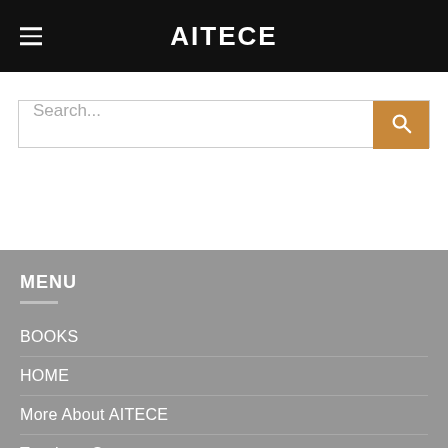AITECE
Search...
MENU
BOOKS
HOME
More About AITECE
Teachers Say